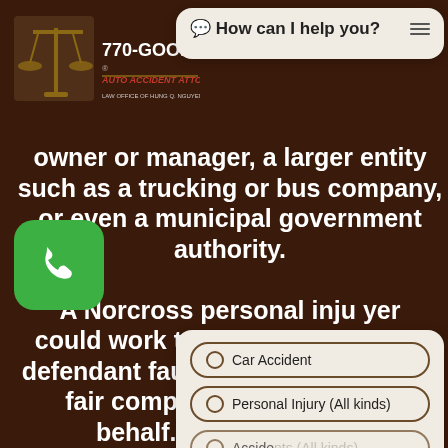[Figure (logo): 770-GOOD-LAW Auto Accident Attorneys law firm logo with scales of justice icon]
[Figure (screenshot): Chat widget overlay showing 'How can I help you?' header with hamburger menu]
owner or manager, a larger entity such as a trucking or bus company, or even a municipal government authority. A Norcross personal injury lawyer could work to gather evidence of defendant fault and pursue full and fair compensation on a plaintiff's behalf. It should, however, that under Official Code of Georgia §9-3-33, most plaintiffs have two years from the date of their injury to file suit before the statute of limitations expires and are forever barred from filing.
[Figure (screenshot): Chat options panel with Car Accident, Personal Injury (All kinds), Accidents (All kinds) radio buttons and Scroll button]